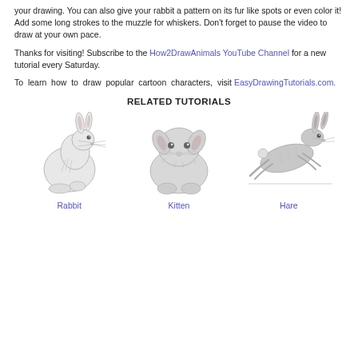your drawing. You can also give your rabbit a pattern on its fur like spots or even color it! Add some long strokes to the muzzle for whiskers. Don't forget to pause the video to draw at your own pace.
Thanks for visiting! Subscribe to the How2DrawAnimals YouTube Channel for a new tutorial every Saturday.
To learn how to draw popular cartoon characters, visit EasyDrawingTutorials.com.
RELATED TUTORIALS
[Figure (illustration): Pencil sketch of a sitting rabbit, facing right, lop-eared style]
Rabbit
[Figure (illustration): Pencil sketch of a fluffy kitten sitting, facing right]
Kitten
[Figure (illustration): Pencil sketch of a hare running/leaping to the right]
Hare